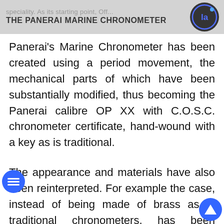speciality. As its starting point, Off... THE PANERAI MARINE CHRONOMETER
Panerai's Marine Chronometer has been created using a period movement, the mechanical parts of which have been substantially modified, thus becoming the Panerai calibre OP XX with C.O.S.C. chronometer certificate, hand-wound with a key as is traditional.
The appearance and materials have also been reinterpreted. For example the case, instead of being made of brass as in traditional chronometers, has been executed in AISI 316L stainless steel. The same material has been used for the bezel and the gimbals, the latter being a system fundamental to the achievement of accurate timekeeping since it